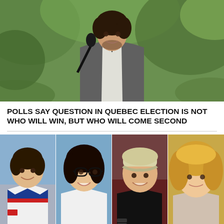[Figure (photo): Man in grey suit speaking at microphone outdoors, green foliage background]
POLLS SAY QUESTION IN QUEBEC ELECTION IS NOT WHO WILL WIN, BUT WHO WILL COME SECOND
[Figure (photo): Four portrait photos side by side: young man in hockey jersey, young woman with glasses, young man in black shirt with cap, young woman with blonde hair]
SIX PEOPLE KILLED IN SINGLE-VEHICLE BARRIE CRASH IDENTIFIED
[Figure (photo): Police car with red and blue flashing lights at night]